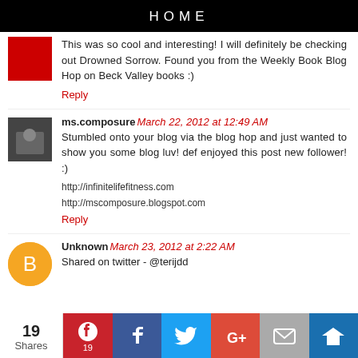HOME
This was so cool and interesting! I will definitely be checking out Drowned Sorrow. Found you from the Weekly Book Blog Hop on Beck Valley books :)
Reply
ms.composure March 22, 2012 at 12:49 AM
Stumbled onto your blog via the blog hop and just wanted to show you some blog luv! def enjoyed this post new follower! :)
http://infinitelifefitness.com
http://mscomposure.blogspot.com
Reply
Unknown March 23, 2012 at 2:22 AM
Shared on twitter - @terijdd